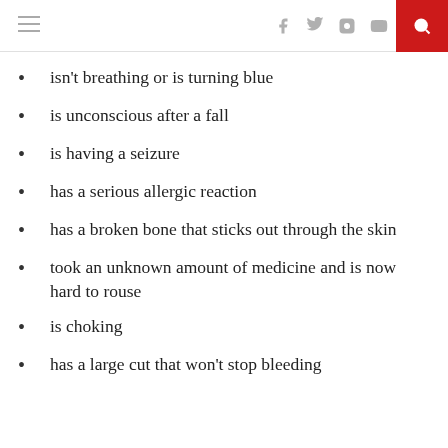Navigation header with hamburger menu, social icons (Facebook, Twitter, Instagram, YouTube), and search button
isn't breathing or is turning blue
is unconscious after a fall
is having a seizure
has a serious allergic reaction
has a broken bone that sticks out through the skin
took an unknown amount of medicine and is now hard to rouse
is choking
has a large cut that won't stop bleeding